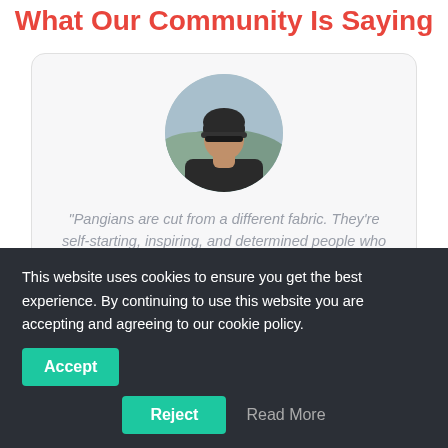What Our Community Is Saying
[Figure (photo): Circular avatar photo of a young woman wearing a dark beanie hat, outdoors with a cityscape/hillside background]
"Pangians are cut from a different fabric. They're self-starting, inspiring, and determined people who work hard for what
This website uses cookies to ensure you get the best experience. By continuing to use this website you are accepting and agreeing to our cookie policy.
Accept
Reject
Read More